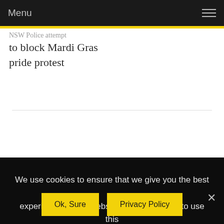Menu
NSW Police attempt to block Mardi Gras pride protest
We use cookies to ensure that we give you the best experience on our website. If you continue to use this site we will assume that you are happy with it.
Ok, Sure
Privacy Policy